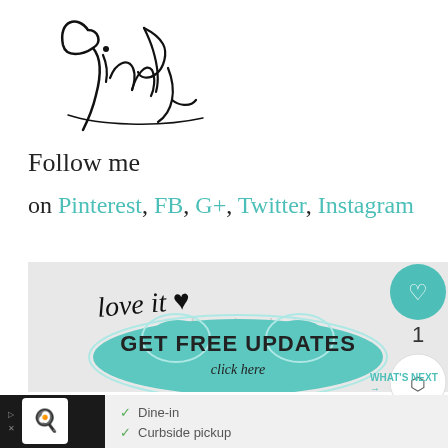[Figure (illustration): Cursive handwritten signature reading 'Cindy' in black ink]
Follow me
on Pinterest, FB, G+, Twitter, Instagram
[Figure (screenshot): Photobucket image with handwritten 'love it' text and a teal badge reading 'GET FREE UPDATES click here']
[Figure (screenshot): Bottom advertisement banner showing restaurant with Dine-in and Curbside pickup options, heart/like button showing 1 like, share button, and What's Next Fall Decor suggestion]